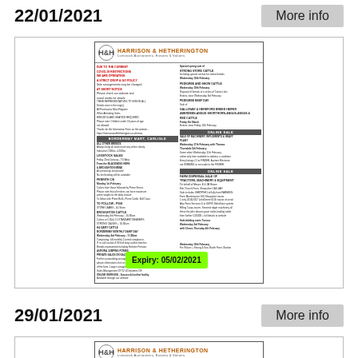22/01/2021
More info
[Figure (other): Harrison & Hetherington auction house flyer/newsletter with text columns, section headers, and an expiry badge reading 'Expiry: 05/02/2021']
29/01/2021
More info
[Figure (other): Harrison & Hetherington auction house flyer header (partially visible)]